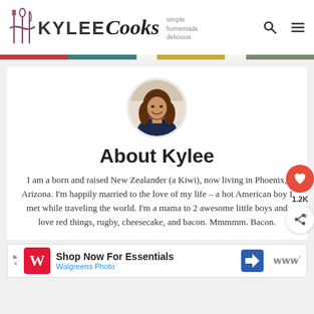[Figure (logo): Kylee Cooks logo with utensils icon, text 'KYLEE Cooks' and tagline 'simple homemade delicious']
[Figure (illustration): Horizontal color bar in red, teal, light, gold, light, olive green segments]
[Figure (photo): Circular profile photo of a woman with long brown hair smiling, wearing a navy blue top]
About Kylee
I am a born and raised New Zealander (a Kiwi), now living in Phoenix, Arizona. I'm happily married to the love of my life – a hot American boy I met while traveling the world. I'm a mama to 2 awesome little boys and love red things, rugby, cheesecake, and bacon. Mmmmm. Bacon.
[Figure (other): Floating action buttons: red heart button with 1.2K count and share button]
[Figure (other): Advertisement banner: Walgreens Photo 'Shop Now For Essentials']